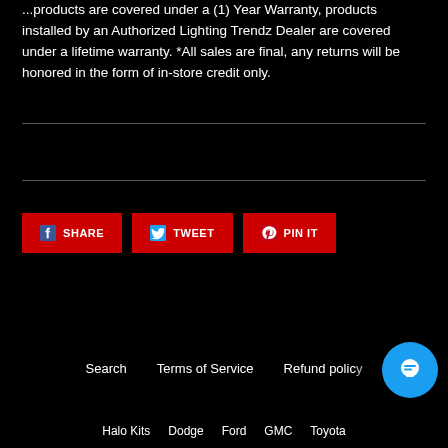...products are covered under a (1) Year Warranty, products installed by an Authorized Lighting Trendz Dealer are covered under a lifetime warranty. *All sales are final, any returns will be honored in the form of in-store credit only.
[Figure (infographic): Three social sharing buttons: SHARE (Facebook), TWEET (Twitter), PIN IT (Pinterest), red background with icons]
Search   Terms of Service   Refund policy
Halo Kits   Dodge   Ford   GMC   Toyota